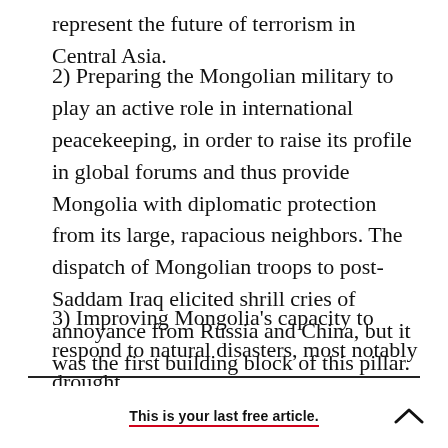represent the future of terrorism in Central Asia.
2) Preparing the Mongolian military to play an active role in international peacekeeping, in order to raise its profile in global forums and thus provide Mongolia with diplomatic protection from its large, rapacious neighbors. The dispatch of Mongolian troops to post-Saddam Iraq elicited shrill cries of annoyance from Russia and China, but it was the first building block of this pillar.
3) Improving Mongolia's capacity to respond to natural disasters, most notably drought.
This is your last free article.